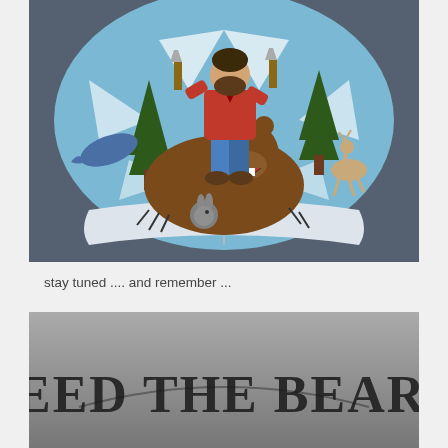[Figure (illustration): Comic-style illustration showing a bearded lumberjack man in red flannel shirt and blue jeans riding on a roaring brown bear, holding axes aloft. Surrounding elements include pine trees, a flying whale, a running deer, and a rabbit. The scene bursts from an open book. Background is slate blue-gray.]
stay tuned .... and remember ...
[Figure (illustration): Gray background image with large stylized gothic/western lettering reading 'FEED THE BEARD' in dark gray block letters with decorative serifs.]